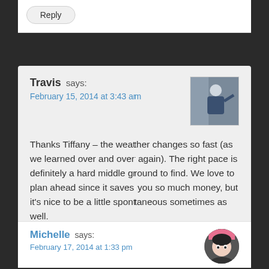Reply
Travis says:
February 15, 2014 at 3:43 am

Thanks Tiffany – the weather changes so fast (as we learned over and over again). The right pace is definitely a hard middle ground to find. We love to plan ahead since it saves you so much money, but it's nice to be a little spontaneous sometimes as well.
Reply
Michelle says:
February 17, 2014 at 1:33 pm